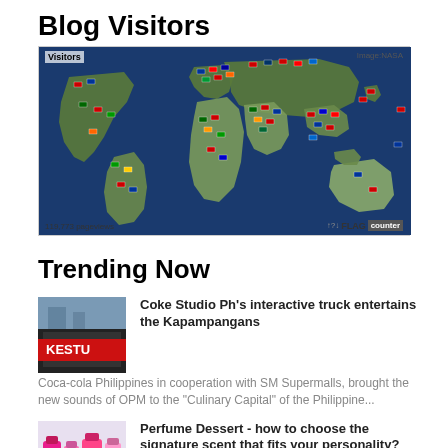Blog Visitors
[Figure (map): World map with flag counter showing visitors from various countries. Labels: 'Visitors' top-left, 'Image:NASA' top-right, '119,773 pageviews' bottom-left, FLAG counter logo bottom-right.]
Trending Now
[Figure (photo): Photo of Coke Studio Ph truck/event with red branding]
Coke Studio Ph's interactive truck entertains the Kapampangans
Coca-cola Philippines in cooperation with SM Supermalls, brought the new sounds of OPM to the "Culinary Capital" of the Philippine...
[Figure (photo): Photo of perfume/cosmetic bottles with colorful packaging]
Perfume Dessert - how to choose the signature scent that fits your personality?
The girl with the signature scent is the girl who commands the attention of the entire room the...